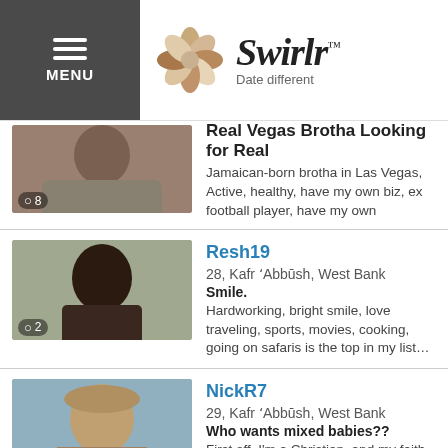Swirlr — Date different
Real Vegas Brotha Looking for Real — Jamaican-born brotha in Las Vegas, Active, healthy, have my own biz, ex football player, have my own
Resh19 — 28, Kafr 'Abbūsh, West Bank — Smile. — Hardworking, bright smile, love traveling, sports, movies, cooking, going on safaris is the top in my list...
NickR7 — 29, Kafr 'Abbūsh, West Bank — Who wants mixed babies?? — First off, I'm a Christian, and my faith defines who I am. I have a very bubbly personality, and I tend to... more
ItsSky — 30, Kafr 'Abbūsh, West Bank — Choosy moms choose me. — I'm Skyiler (pronounced skyler), a southern gal living